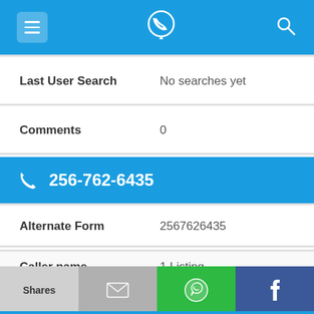[Figure (screenshot): App top navigation bar with menu (hamburger), phone/location logo, and search icon on blue background]
Last User Search   No searches yet
Comments   0
256-762-6435
Alternate Form   2567626435
Caller name   1 Listing
Last User Search   No searches yet
Shares  [email icon]  [WhatsApp icon]  [Facebook icon]